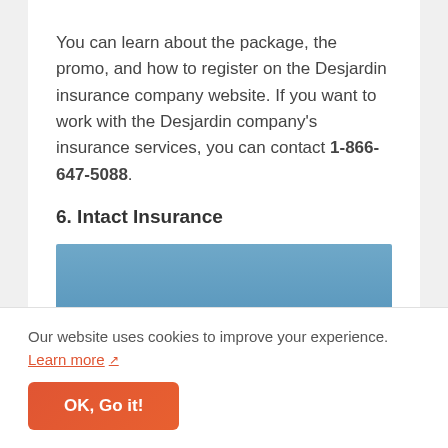You can learn about the package, the promo, and how to register on the Desjardin insurance company website. If you want to work with the Desjardin company's insurance services, you can contact 1-866-647-5088.
6. Intact Insurance
[Figure (photo): Blue banner image for Intact Insurance section]
Our website uses cookies to improve your experience. Learn more
OK, Go it!